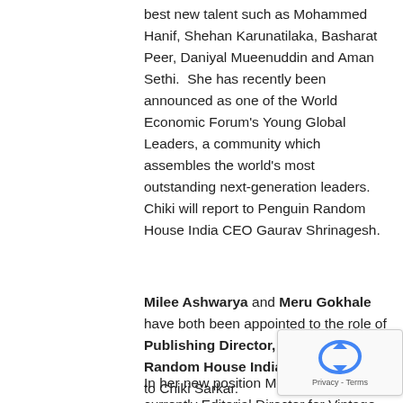best new talent such as Mohammed Hanif, Shehan Karunatilaka, Basharat Peer, Daniyal Mueenuddin and Aman Sethi.  She has recently been announced as one of the World Economic Forum's Young Global Leaders, a community which assembles the world's most outstanding next-generation leaders. Chiki will report to Penguin Random House India CEO Gaurav Shrinagesh.
Milee Ashwarya and Meru Gokhale have both been appointed to the role of Publishing Director, Penguin Random House India and will report to Chiki Sarkar.
In her new position Meru Gokhale, currently Editorial Director for Vintage, Random House India, will have direct responsibility for the